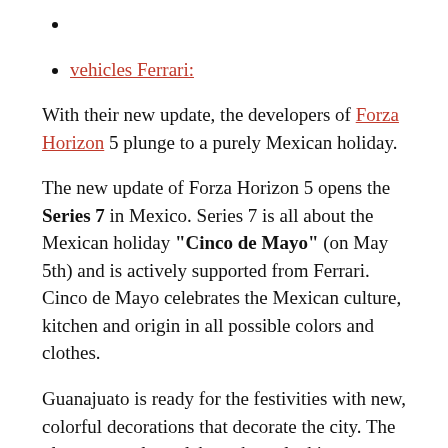vehicles Ferrari:
With their new update, the developers of Forza Horizon 5 plunge to a purely Mexican holiday.
The new update of Forza Horizon 5 opens the Series 7 in Mexico. Series 7 is all about the Mexican holiday "Cinco de Mayo" (on May 5th) and is actively supported from Ferrari. Cinco de Mayo celebrates the Mexican culture, kitchen and origin in all possible colors and clothes.
Guanajuato is ready for the festivities with new, colorful decorations that decorate the city. The players can also celebrate by unlocking new clothes that are inspired by